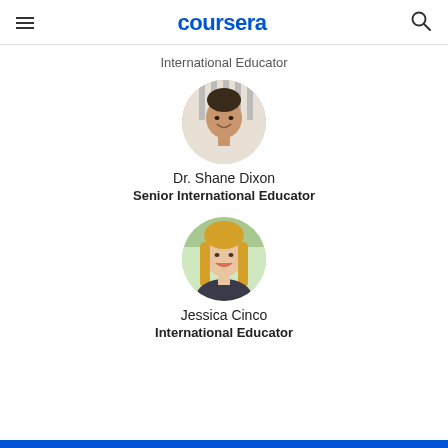coursera
International Educator
[Figure (photo): Circular profile photo of Dr. Shane Dixon, a man smiling, wearing a striped shirt]
Dr. Shane Dixon
Senior International Educator
[Figure (photo): Circular profile photo of Jessica Cinco, a woman with blonde hair smiling]
Jessica Cinco
International Educator